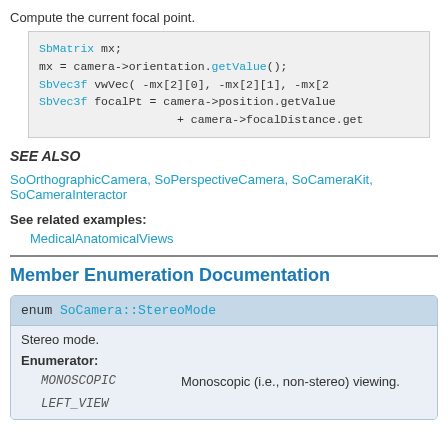Compute the current focal point.
[Figure (screenshot): Code block showing SbMatrix and SbVec3f usage with camera orientation and focal distance]
SEE ALSO
SoOrthographicCamera, SoPerspectiveCamera, SoCameraKit, SoCameraInteractor
See related examples:
MedicalAnatomicalViews
Member Enumeration Documentation
| enum SoCamera::StereoMode |
| --- |
| Stereo mode. |
| Enumerator: |
| MONOSCOPIC | Monoscopic (i.e., non-stereo) viewing. |
| LEFT_VIEW |  |